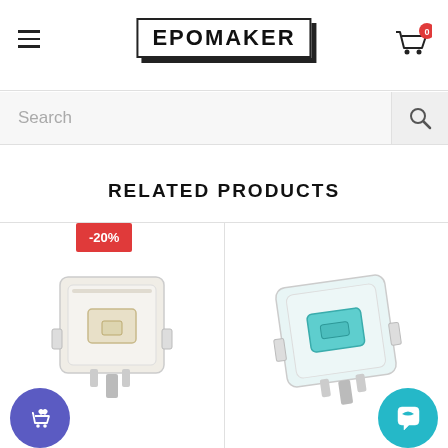EPOMAKER
Search
RELATED PRODUCTS
[Figure (photo): Keyboard switch with white/cream colored stem in clear transparent housing, product photo. Has -20% discount badge in red.]
[Figure (photo): Keyboard switch with teal/cyan colored stem in clear transparent housing, product photo.]